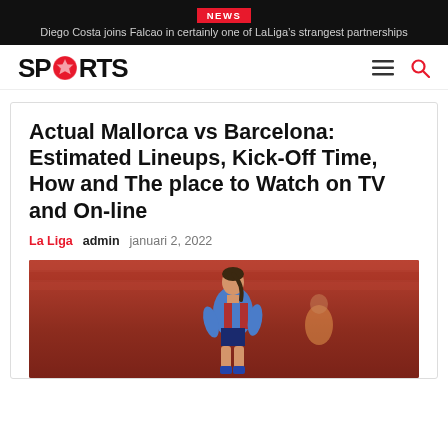NEWS
Diego Costa joins Falcao in certainly one of LaLiga's strangest partnerships
[Figure (logo): Sports logo with soccer ball replacing the 'O' in SPORTS, with hamburger menu and search icons on the right]
Actual Mallorca vs Barcelona: Estimated Lineups, Kick-Off Time, How and The place to Watch on TV and On-line
La Liga  admin  januari 2, 2022
[Figure (photo): Soccer player in blue/red FC Barcelona kit on a red pitch background]